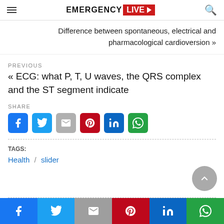EMERGENCY LIVE
Difference between spontaneous, electrical and pharmacological cardioversion »
PREVIOUS
« ECG: what P, T, U waves, the QRS complex and the ST segment indicate
SHARE
[Figure (infographic): Row of 6 social share buttons: Facebook (blue), Twitter (blue), Gmail (grey), Pinterest (red), LinkedIn (blue), WhatsApp (green)]
TAGS:
Health / slider
[Figure (infographic): Bottom share bar with Facebook, Twitter, Gmail, Pinterest, LinkedIn, WhatsApp buttons]